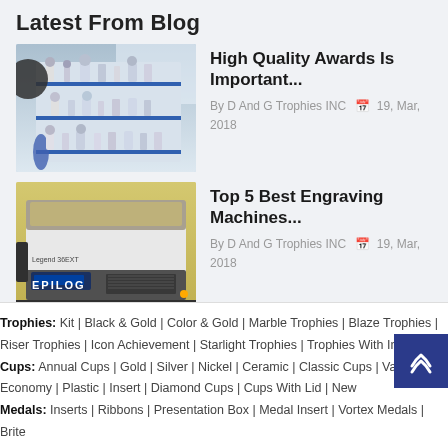Latest From Blog
[Figure (photo): Interior shot of a trophy shop showing shelves with various trophies and awards displayed on blue shelving units]
High Quality Awards Is Important...
By D And G Trophies INC  19, Mar, 2018
[Figure (photo): Epilog Legend 36EXT laser engraving machine in a yellow-walled room]
Top 5 Best Engraving Machines...
By D And G Trophies INC  19, Mar, 2018
Trophies: Kit | Black & Gold | Color & Gold | Marble Trophies | Blaze Trophies | Riser Trophies | Icon Achievement | Starlight Trophies | Trophies With Ins...
Cups: Annual Cups | Gold | Silver | Nickel | Ceramic | Classic Cups | Valen... Cups | Economy | Plastic | Insert | Diamond Cups | Cups With Lid | New
Medals: Inserts | Ribbons | Presentation Box | Medal Insert | Vortex Medals | Brite